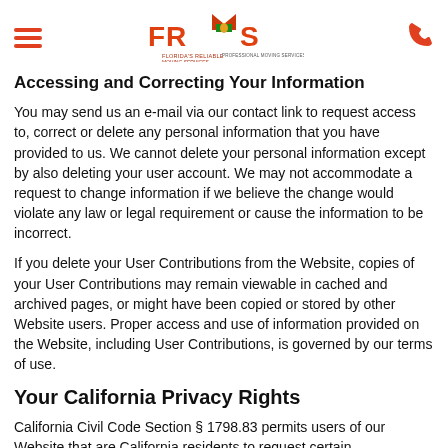FRMS logo header with hamburger menu and phone icon
Accessing and Correcting Your Information
You may send us an e-mail via our contact link to request access to, correct or delete any personal information that you have provided to us. We cannot delete your personal information except by also deleting your user account. We may not accommodate a request to change information if we believe the change would violate any law or legal requirement or cause the information to be incorrect.
If you delete your User Contributions from the Website, copies of your User Contributions may remain viewable in cached and archived pages, or might have been copied or stored by other Website users. Proper access and use of information provided on the Website, including User Contributions, is governed by our terms of use.
Your California Privacy Rights
California Civil Code Section § 1798.83 permits users of our Website that are California residents to request certain